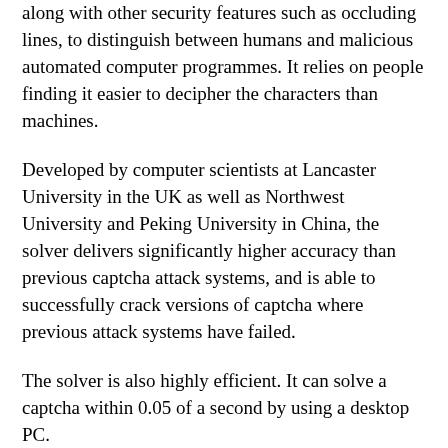along with other security features such as occluding lines, to distinguish between humans and malicious automated computer programmes. It relies on people finding it easier to decipher the characters than machines.
Developed by computer scientists at Lancaster University in the UK as well as Northwest University and Peking University in China, the solver delivers significantly higher accuracy than previous captcha attack systems, and is able to successfully crack versions of captcha where previous attack systems have failed.
The solver is also highly efficient. It can solve a captcha within 0.05 of a second by using a desktop PC.
It works by using a technique known as a 'Generative Adversarial Network', or GAN. This involves teaching a captcha generator programme to produce large numbers of training captchas that are indistinguishable from genuine